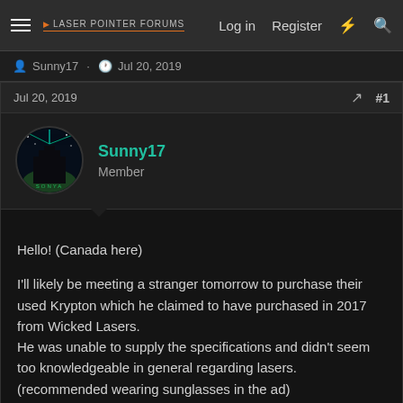Laser Pointer Forums — Log in  Register
Sunny17 · Jul 20, 2019
Jul 20, 2019  #1
Sunny17
Member
Hello! (Canada here)

I'll likely be meeting a stranger tomorrow to purchase their used Krypton which he claimed to have purchased in 2017 from Wicked Lasers.
He was unable to supply the specifications and didn't seem too knowledgeable in general regarding lasers.
(recommended wearing sunglasses in the ad)